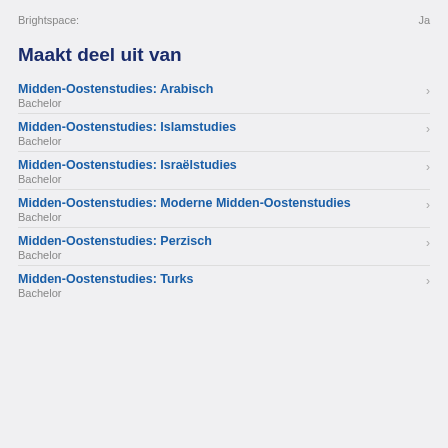Brightspace: Ja
Maakt deel uit van
Midden-Oostenstudies: Arabisch
Bachelor
Midden-Oostenstudies: Islamstudies
Bachelor
Midden-Oostenstudies: Israëlstudies
Bachelor
Midden-Oostenstudies: Moderne Midden-Oostenstudies
Bachelor
Midden-Oostenstudies: Perzisch
Bachelor
Midden-Oostenstudies: Turks
Bachelor